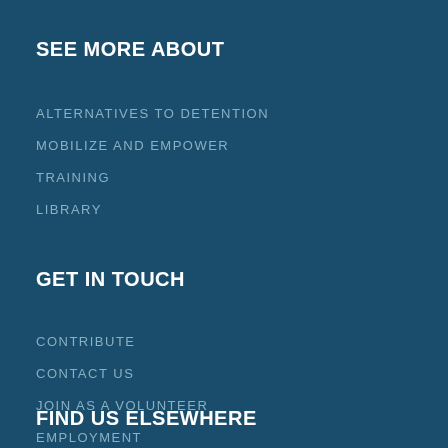SEE MORE ABOUT
ALTERNATIVES TO DETENTION
MOBILIZE AND EMPOWER
TRAINING
LIBRARY
GET IN TOUCH
CONTRIBUTE
CONTACT US
JOIN AS A VOLUNTEER
EMPLOYMENT
FIND US ELSEWHERE